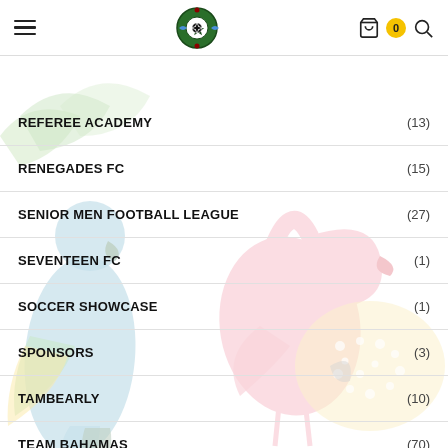Navigation header with hamburger menu, soccer league logo, cart (0), and search icon
[Figure (illustration): Decorative background with flamingo and colorful bird illustrations, faded/watermark style]
REFEREE ACADEMY (13)
RENEGADES FC (15)
SENIOR MEN FOOTBALL LEAGUE (27)
SEVENTEEN FC (1)
SOCCER SHOWCASE (1)
SPONSORS (3)
TAMBEARLY (10)
TEAM BAHAMAS (70)